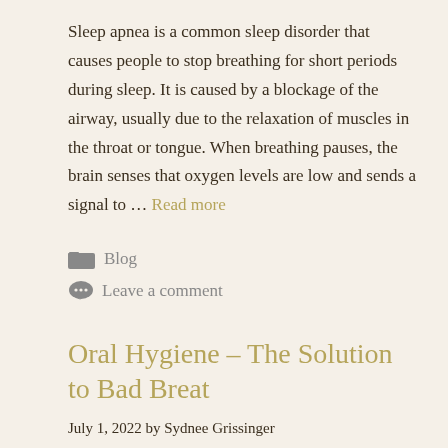Sleep apnea is a common sleep disorder that causes people to stop breathing for short periods during sleep. It is caused by a blockage of the airway, usually due to the relaxation of muscles in the throat or tongue. When breathing pauses, the brain senses that oxygen levels are low and sends a signal to … Read more
Blog
Leave a comment
Oral Hygiene – The Solution to Bad Breat
July 1, 2022 by Sydnee Grissinger